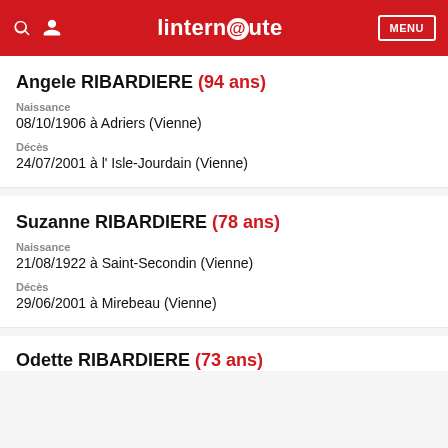linternQute
Angele RIBARDIERE (94 ans)
Naissance
08/10/1906 à Adriers (Vienne)
Décès
24/07/2001 à l' Isle-Jourdain (Vienne)
Suzanne RIBARDIERE (78 ans)
Naissance
21/08/1922 à Saint-Secondin (Vienne)
Décès
29/06/2001 à Mirebeau (Vienne)
Odette RIBARDIERE (73 ans)